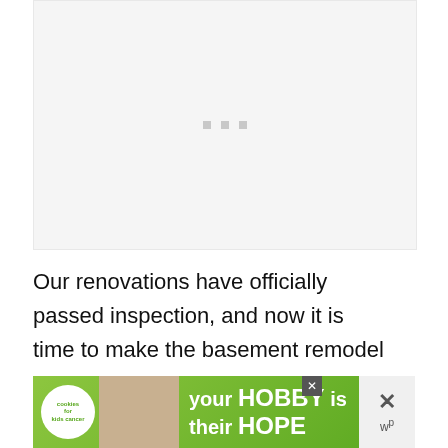[Figure (photo): Image placeholder with loading dots indicator on light gray background]
Our renovations have officially passed inspection, and now it is time to make the basement remodel pretty.
[Figure (infographic): Advertisement banner: 'your HOBBY is their HOPE' with cookies for kids cancer logo on green background, with close buttons]